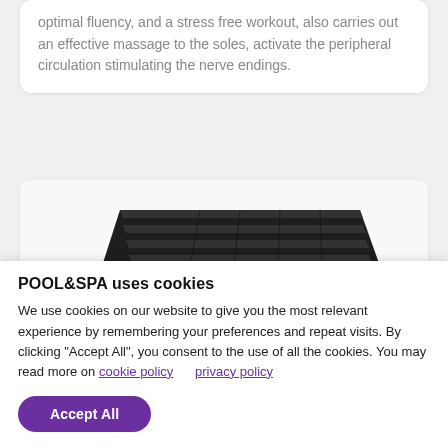optimal fluency, and a stress free workout, also carries out an effective massage to the soles, activate the peripheral circulation stimulating the nerve endings.
[Figure (photo): A dark/black ribbed tread or mat surface photographed at an angle, resembling a pool or spa accessory with parallel ridged grooves.]
POOL&SPA uses cookies
We use cookies on our website to give you the most relevant experience by remembering your preferences and repeat visits. By clicking "Accept All", you consent to the use of all the cookies. You may read more on cookie policy   privacy policy